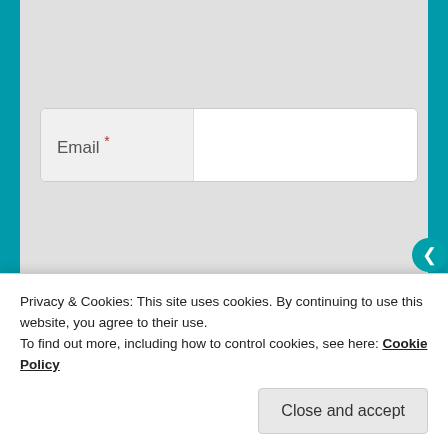[Figure (screenshot): Web form with Email and Website input fields on a grey panel over teal background]
Email *
Website
Notify me of new comments via email.
Post Comment
Notify me of new
Privacy & Cookies: This site uses cookies. By continuing to use this website, you agree to their use.
To find out more, including how to control cookies, see here: Cookie Policy
Close and accept